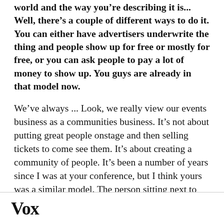world and the way you're describing it is... Well, there's a couple of different ways to do it. You can either have advertisers underwrite the thing and people show up for free or mostly for free, or you can ask people to pay a lot of money to show up. You guys are already in that model now.
We've always ... Look, we really view our events business as a communities business. It's not about putting great people onstage and then selling tickets to come see them. It's about creating a community of people. It's been a number of years since I was at your conference, but I think yours was a similar model. The person sitting next to you
Vox